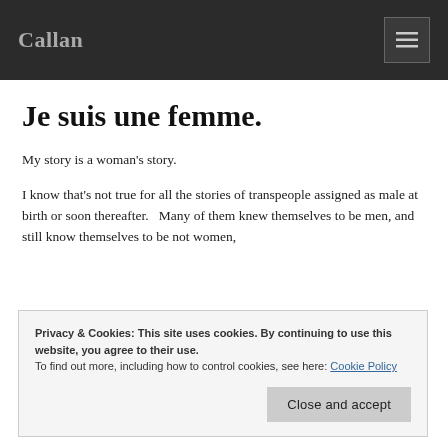Callan
Je suis une femme.
My story is a woman’s story.
I know that’s not true for all the stories of transpeople assigned as male at birth or soon thereafter.   Many of them knew themselves to be men, and still know themselves to be not women,
Privacy & Cookies: This site uses cookies. By continuing to use this website, you agree to their use.
To find out more, including how to control cookies, see here: Cookie Policy
cocky enough to effectively use my male parts in